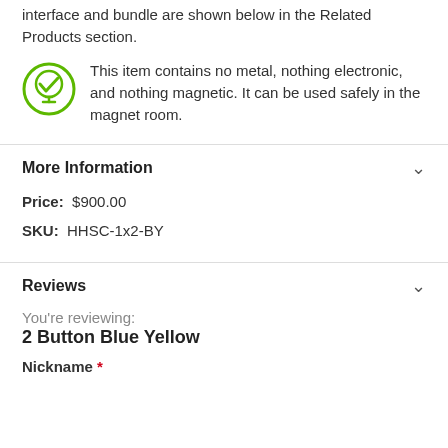interface and bundle are shown below in the Related Products section.
[Figure (illustration): Green MRI-safe checkmark icon in a circle]
This item contains no metal, nothing electronic, and nothing magnetic. It can be used safely in the magnet room.
More Information
Price: $900.00
SKU: HHSC-1x2-BY
Reviews
You're reviewing:
2 Button Blue Yellow
Nickname *